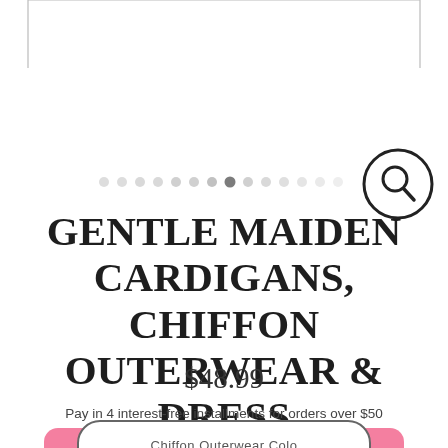[Figure (screenshot): Top border frame lines indicating image/gallery area with a search magnifying glass icon in upper right]
[Figure (other): Pagination dots row, with one active dot highlighted among a row of faded dots]
GENTLE MAIDEN CARDIGANS, CHIFFON OUTERWEAR & DRESS
$48.99
Pay in 4 interest-free installments for orders over $50
[Figure (screenshot): Pink MENU button bar with hamburger lines icon and MENU text label]
[Figure (screenshot): Partially visible bottom button with rounded pill shape, text partially cut off]